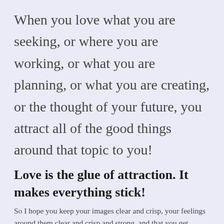When you love what you are seeking, or where you are working, or what you are planning, or what you are creating, or the thought of your future, you attract all of the good things around that topic to you!
Love is the glue of attraction. It makes everything stick!
So I hope you keep your images clear and crisp, your feelings around them clear and crisp and strong, and that you get excited and feel love around it all, and then watch the magic happen!
Passion is the force of love exuding itself towards your desired outcome, so get really passionate okay? 🙂